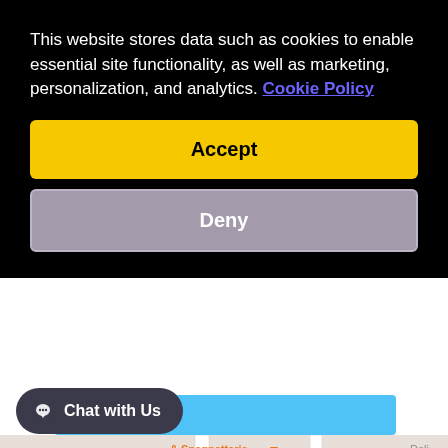This website stores data such as cookies to enable essential site functionality, as well as marketing, personalization, and analytics. Cookie Policy
Accept
Deny
[Figure (screenshot): Google Maps screenshot showing 6421 Pinecastle Blvd location with a red map pin labeled STE 2, nearby streets including E Lancaster Rd, Locust Ave, Rainbow, and Casa Vieja, with a map info bubble showing the address and a 'View larger map' link]
Chat with Us